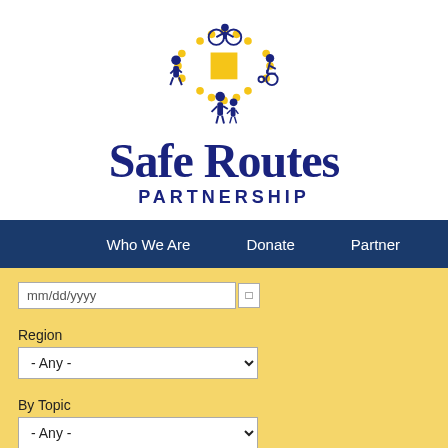[Figure (logo): Safe Routes Partnership logo with illustrated figures: cyclist on top, walking person on left, wheelchair user on right, adult with child on bottom, yellow radiating dots and yellow square in center]
Safe Routes
PARTNERSHIP
Who We Are   Donate   Partner
mm/dd/yyyy
Region
- Any -
By Topic
- Any -